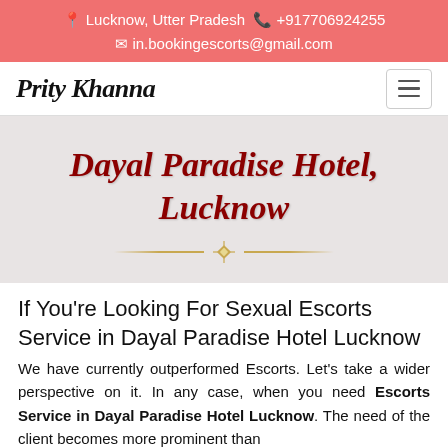📍 Lucknow, Utter Pradesh 📞 +917706924255 ✉ in.bookingescorts@gmail.com
Prity Khanna
Dayal Paradise Hotel, Lucknow
If You're Looking For Sexual Escorts Service in Dayal Paradise Hotel Lucknow
We have currently outperformed Escorts. Let's take a wider perspective on it. In any case, when you need Escorts Service in Dayal Paradise Hotel Lucknow. The need of the client becomes more prominent than